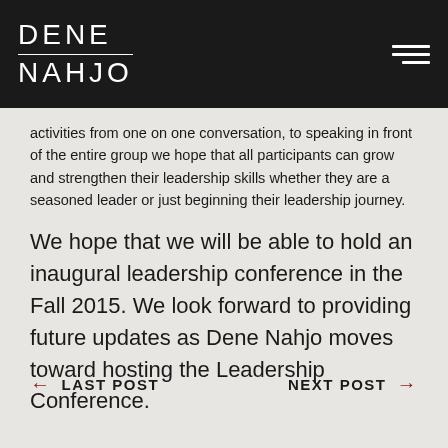DENE NAHJO
activities from one on one conversation, to speaking in front of the entire group we hope that all participants can grow and strengthen their leadership skills whether they are a seasoned leader or just beginning their leadership journey.
We hope that we will be able to hold an inaugural leadership conference in the Fall 2015. We look forward to providing future updates as Dene Nahjo moves toward hosting the Leadership Conference.
← LAST POST   NEXT POST →